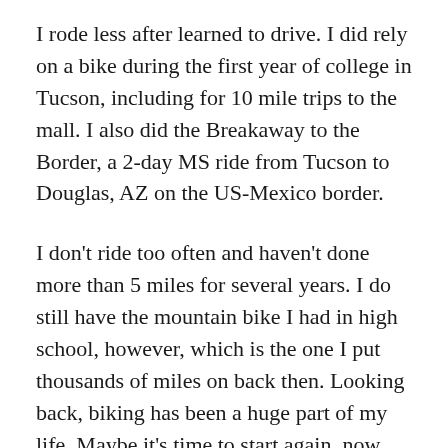I rode less after learned to drive. I did rely on a bike during the first year of college in Tucson, including for 10 mile trips to the mall. I also did the Breakaway to the Border, a 2-day MS ride from Tucson to Douglas, AZ on the US-Mexico border.
I don't ride too often and haven't done more than 5 miles for several years. I do still have the mountain bike I had in high school, however, which is the one I put thousands of miles on back then. Looking back, biking has been a huge part of my life. Maybe it's time to start again, now that the kids are grown.
We want to tell your stories.